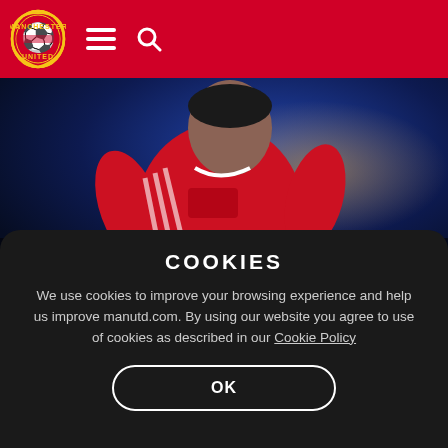Manchester United header with logo, hamburger menu, and search icon
[Figure (photo): Manchester United player in red home kit running, with dark blue blurred stadium background. Text overlay shows Manchester United Direct logo and GET YOUR HOME KIT! heading.]
COOKIES
We use cookies to improve your browsing experience and help us improve manutd.com. By using our website you agree to use of cookies as described in our Cookie Policy
OK